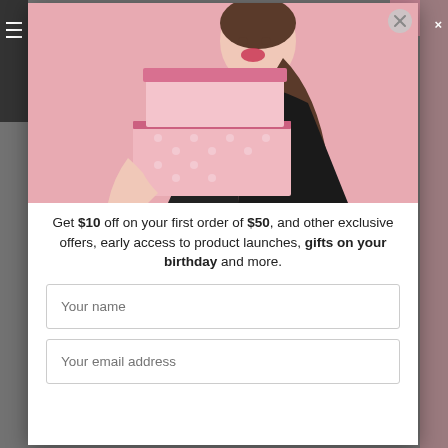[Figure (photo): Woman in black dress holding pink gift boxes against a pink background, smiling at camera]
Get $10 off on your first order of $50, and other exclusive offers, early access to product launches, gifts on your birthday and more.
Your name
Your email address